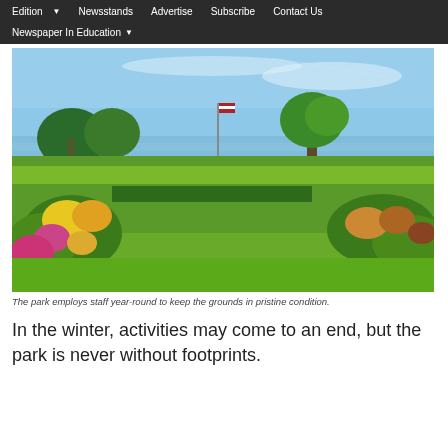Edition ▾   Newsstands   Advertise   Subscribe   Contact Us   Newspaper In Education ▾
[Figure (photo): A sunny outdoor park scene with manicured green lawns, colorful flowering bushes and hedges, trees, a flagpole with an American flag, and a body of water visible in the background under a blue sky.]
The park employs staff year-round to keep the grounds in pristine condition.
In the winter, activities may come to an end, but the park is never without footprints.